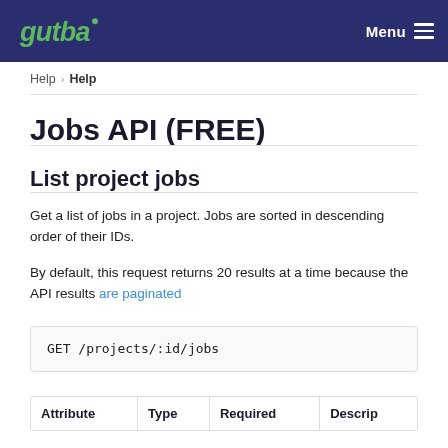Menu
Help › Help
Jobs API (FREE)
List project jobs
Get a list of jobs in a project. Jobs are sorted in descending order of their IDs.
By default, this request returns 20 results at a time because the API results are paginated
GET /projects/:id/jobs
| Attribute | Type | Required | Descrip |
| --- | --- | --- | --- |